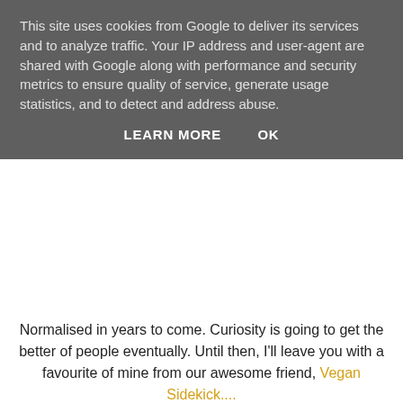This site uses cookies from Google to deliver its services and to analyze traffic. Your IP address and user-agent are shared with Google along with performance and security metrics to ensure quality of service, generate usage statistics, and to detect and address abuse.
LEARN MORE    OK
Normalised in years to come. Curiosity is going to get the better of people eventually. Until then, I'll leave you with a favourite of mine from our awesome friend, Vegan Sidekick....
[Figure (illustration): A cartoon illustration titled 'So if you don't eat meat, eggs or dairy, what can you eat?' showing two stick figures surrounded by many illustrated vegan foods including curry, pasta, burger, banana, soup, pizza, salad, mushrooms, limes, bread, mango, avocado, tofu, rice, beans, vegetables, grapes, porridge, fruits, and many more plant-based foods.]